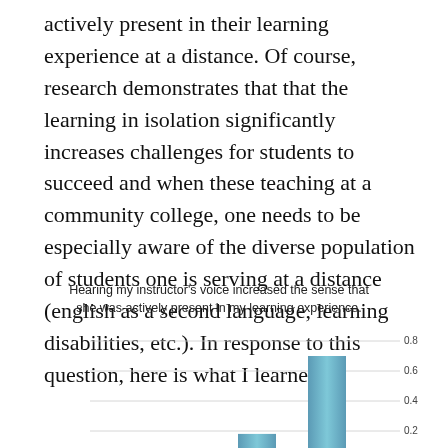actively present in their learning experience at a distance. Of course, research demonstrates that that the learning in isolation significantly increases challenges for students to succeed and when these teaching at a community college, one needs to be especially aware of the diverse population of students one is serving at a distance (english as a second language, learning disabilities, etc.). In response to this question, here is what I learned:
[Figure (bar-chart): Hearing my instructor's voice increased the sense that she was actively present in my learning experience.]